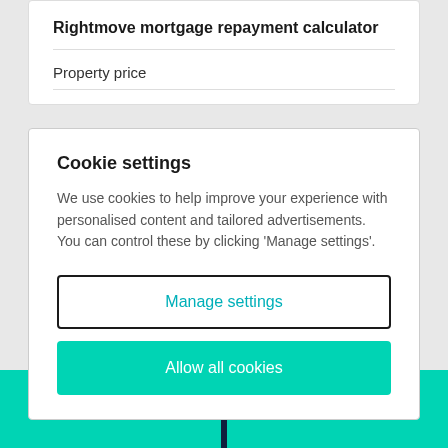Rightmove mortgage repayment calculator
Property price
Cookie settings
We use cookies to help improve your experience with personalised content and tailored advertisements. You can control these by clicking 'Manage settings'.
Manage settings
Allow all cookies
Email agent
Call agent